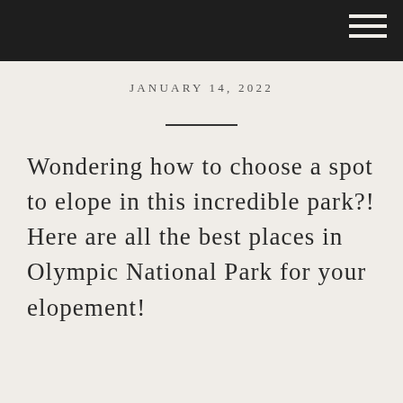JANUARY 14, 2022
Wondering how to choose a spot to elope in this incredible park?! Here are all the best places in Olympic National Park for your elopement!